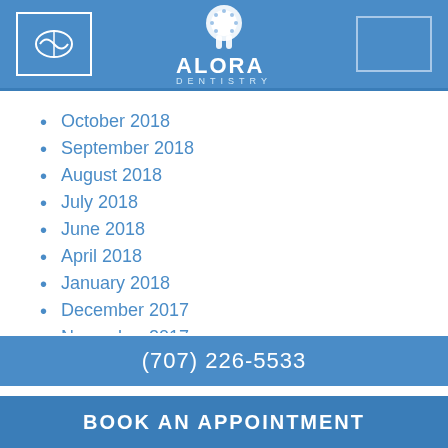[Figure (logo): Alora Dentistry header with tooth logo, left icon logo with arrow symbol, and right placeholder box on blue background]
October 2018
September 2018
August 2018
July 2018
June 2018
April 2018
January 2018
December 2017
November 2017
September 2017
(707) 226-5533
BOOK AN APPOINTMENT